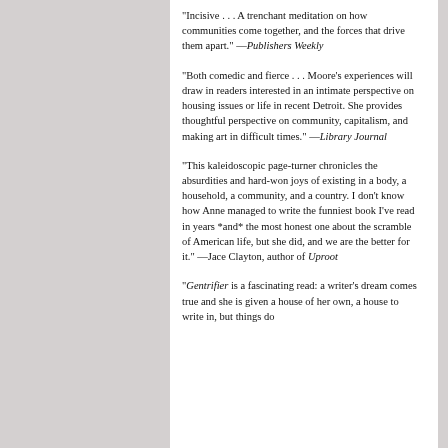"Incisive . . . A trenchant meditation on how communities come together, and the forces that drive them apart." —Publishers Weekly
"Both comedic and fierce . . . Moore's experiences will draw in readers interested in an intimate perspective on housing issues or life in recent Detroit. She provides thoughtful perspective on community, capitalism, and making art in difficult times." —Library Journal
"This kaleidoscopic page-turner chronicles the absurdities and hard-won joys of existing in a body, a household, a community, and a country. I don't know how Anne managed to write the funniest book I've read in years *and* the most honest one about the scramble of American life, but she did, and we are the better for it." —Jace Clayton, author of Uproot
"Gentrifier is a fascinating read: a writer's dream comes true and she is given a house of her own, a house to write in, but things do